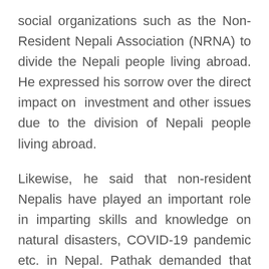social organizations such as the Non-Resident Nepali Association (NRNA) to divide the Nepali people living abroad. He expressed his sorrow over the direct impact on  investment and other issues due to the division of Nepali people living abroad.
Likewise, he said that non-resident Nepalis have played an important role in imparting skills and knowledge on natural disasters, COVID-19 pandemic etc. in Nepal. Pathak demanded that the bill on non-resident Nepali citizenship be